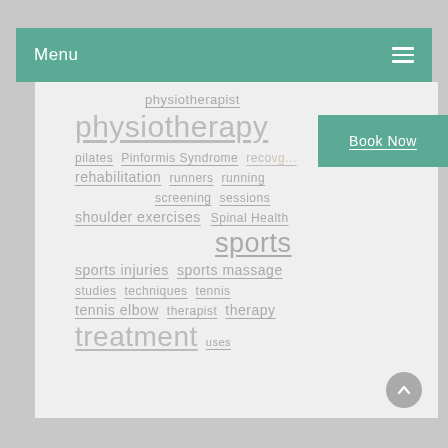Menu
physiotherapist
physiotherapy
Book Now
pilates
Pinformis Syndrome
recovery
rehabilitation
runners
running
screening
sessions
shoulder exercises
Spinal Health
sports
sports injuries
sports massage
studies
techniques
tennis
tennis elbow
therapist
therapy
treatment
uses